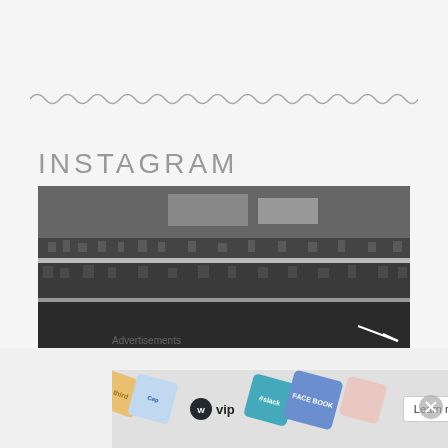[Figure (other): Decorative wavy/zigzag horizontal line divider in gray]
INSTAGRAM
[Figure (photo): Black and white photograph of a sports stadium with crowds of spectators in the stands, viewed from field level]
Advertisements
[Figure (infographic): WordPress VIP advertisement banner with colorful social media brand badges (Slack, Facebook) and a Learn more button with arrow]